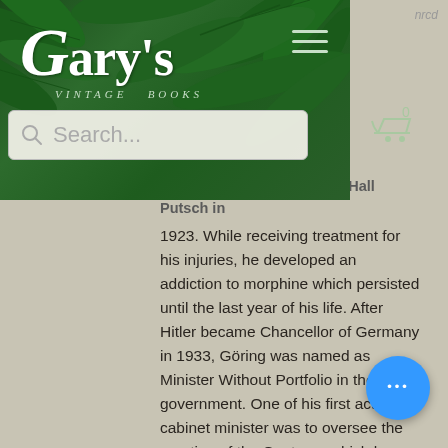[Figure (screenshot): Gary's Vintage Books website header with dark green fern/tropical leaf background, white serif logo reading "Gary's" with subtitle "VINTAGE BOOKS", hamburger menu icon, search bar, and shopping cart icon showing 0 items.]
in Adolf Hitler's failed Beer Hall Putsch in 1923. While receiving treatment for his injuries, he developed an addiction to morphine which persisted until the last year of his life. After Hitler became Chancellor of Germany in 1933, Göring was named as Minister Without Portfolio in the new government. One of his first acts as a cabinet minister was to oversee the creation of the Gestapo, which he ceded to Heinrich Himmler in